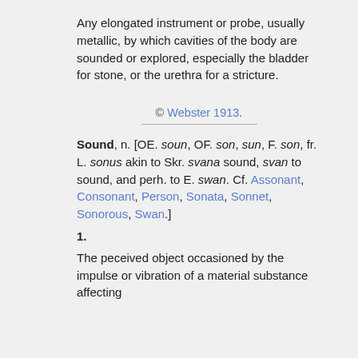Any elongated instrument or probe, usually metallic, by which cavities of the body are sounded or explored, especially the bladder for stone, or the urethra for a stricture.
© Webster 1913.
Sound, n. [OE. soun, OF. son, sun, F. son, fr. L. sonus akin to Skr. svana sound, svan to sound, and perh. to E. swan. Cf. Assonant, Consonant, Person, Sonata, Sonnet, Sonorous, Swan.]
1.
The peceived object occasioned by the impulse or vibration of a material substance affecting